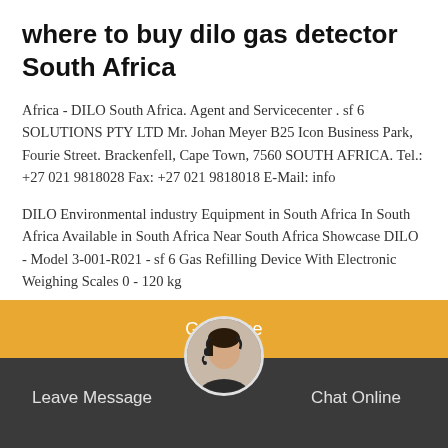where to buy dilo gas detector South Africa
Africa - DILO South Africa. Agent and Servicecenter . sf 6 SOLUTIONS PTY LTD Mr. Johan Meyer B25 Icon Business Park, Fourie Street. Brackenfell, Cape Town, 7560 SOUTH AFRICA. Tel.: +27 021 9818028 Fax: +27 021 9818018 E-Mail: info
DILO Environmental industry Equipment in South Africa In South Africa Available in South Africa Near South Africa Showcase DILO - Model 3-001-R021 - sf 6 Gas Refilling Device With Electronic Weighing Scales 0 - 120 kg
[Figure (other): Orange 'Get Price' button bar with customer service avatar and dark footer bar with 'Leave Message' and 'Chat Online' options]